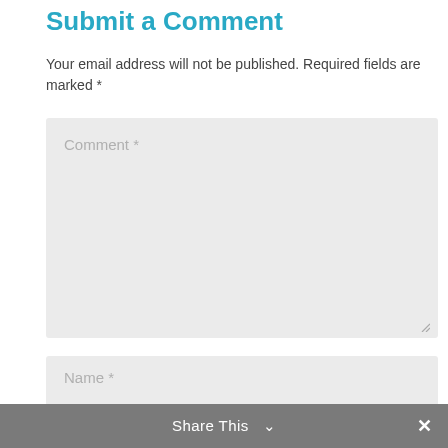Submit a Comment
Your email address will not be published. Required fields are marked *
[Figure (screenshot): Comment textarea input field with placeholder text 'Comment *' and resize handle]
[Figure (screenshot): Name text input field with placeholder text 'Name *']
[Figure (screenshot): Email text input field with placeholder text 'Email *']
[Figure (screenshot): Website text input field with placeholder text 'Website' partially visible]
Share This  ✕